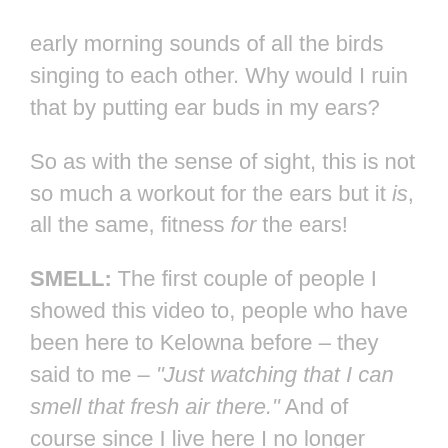early morning sounds of all the birds singing to each other. Why would I ruin that by putting ear buds in my ears?
So as with the sense of sight, this is not so much a workout for the ears but it is, all the same, fitness for the ears!
SMELL: The first couple of people I showed this video to, people who have been here to Kelowna before – they said to me – "Just watching that I can smell that fresh air there." And of course since I live here I no longer notice this but I knew exactly what they meant. Every year when I go to Aruba the very first thing I take account of is the 'smell'